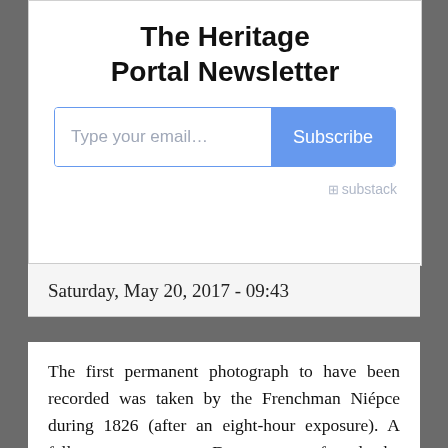The Heritage Portal Newsletter
[Figure (screenshot): Email subscription widget with text input 'Type your email...' and a blue 'Subscribe' button, with Substack logo below]
Saturday, May 20, 2017 - 09:43
The first permanent photograph to have been recorded was taken by the Frenchman Niépce during 1826 (after an eight-hour exposure). A fellow countryman, Daguerre, perfected the capturing of a permanent image by inventing the first practical photographic process during 1839. This photographic end result became known as